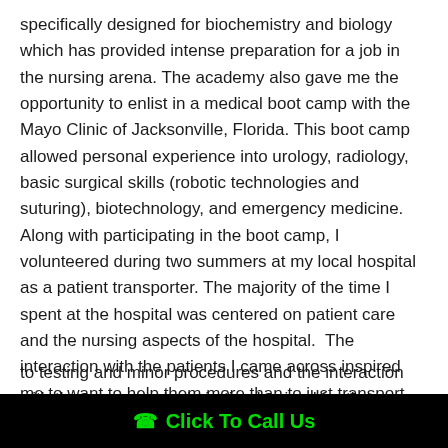specifically designed for biochemistry and biology which has provided intense preparation for a job in the nursing arena. The academy also gave me the opportunity to enlist in a medical boot camp with the Mayo Clinic of Jacksonville, Florida. This boot camp allowed personal experience into urology, radiology, basic surgical skills (robotic technologies and suturing), biotechnology, and emergency medicine. Along with participating in the boot camp, I volunteered during two summers at my local hospital as a patient transporter. The majority of the time I spent at the hospital was centered on patient care and the nursing aspects of the hospital.  The interaction with the patients I came across inspired me to want to help them more than to just transport them
to testing and minor procedures and the interaction with the nurses and admiration I gained for them made it clear from that
Click To Call Us